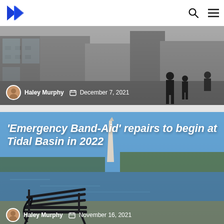Navigation bar with logo, search, and menu icons
[Figure (photo): Grayscale photo of a city street scene with people walking near a modern building]
Haley Murphy   December 7, 2021
[Figure (photo): Photo of Tidal Basin with a park bench in the foreground, Washington Monument in background and blue sky]
'Emergency Band-Aid' repairs to begin at Tidal Basin in 2022
Haley Murphy   November 16, 2021